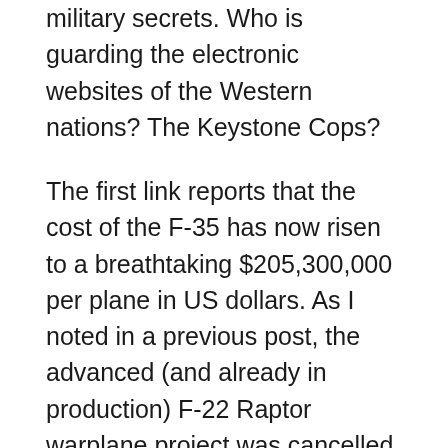military secrets. Who is guarding the electronic websites of the Western nations? The Keystone Cops?
The first link reports that the cost of the F-35 has now risen to a breathtaking $205,300,000 per plane in US dollars. As I noted in a previous post, the advanced (and already in production) F-22 Raptor warplane project was cancelled by President Obama's administration when the costs reached the area of $140,000,000 per plane, but that price now looks like a bargain compared to the F-35!. It is obvious common sense that, given current realities, the wisest and most